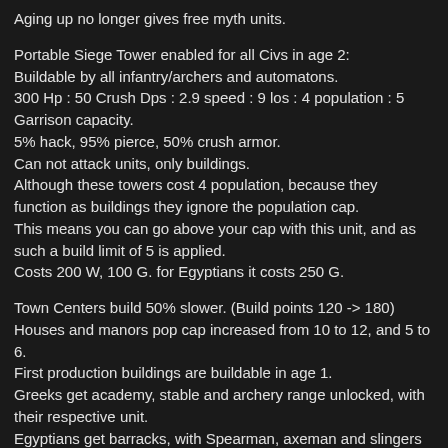Aging up no longer gives free myth units.
Portable Siege Tower enabled for all Civs in age 2:
Buildable by all infantry/archers and automatons.
300 Hp : 50 Crush Dps : 2.9 speed : 9 los : 4 population : 5 Garrison capacity.
5% hack, 95% pierce, 50% crush armor.
Can not attack units, only buildings.
Although these towers cost 4 population, because they function as buildings they ignore the population cap.
This means you can go above your cap with this unit, and as such a build limit of 5 is applied.
Costs 200 W, 100 G. for Egyptians it costs 250 G.
Town Centers build 50% slower. (Build points 120 -> 180)
Houses and manors pop cap increased from 10 to 12, and 5 to 6.
First production buildings are buildable in age 1.
Greeks get academy, stable and archery range unlocked, with their respective unit.
Egyptians get barracks, with Spearman, axeman and slingers unlocked.
Norse get Longhouse, with Ulfsark, throwing axeman, raiding cavalry and Hersir unlocked.
Atty gets Military Barracks with Murmillo unlocked, and counter